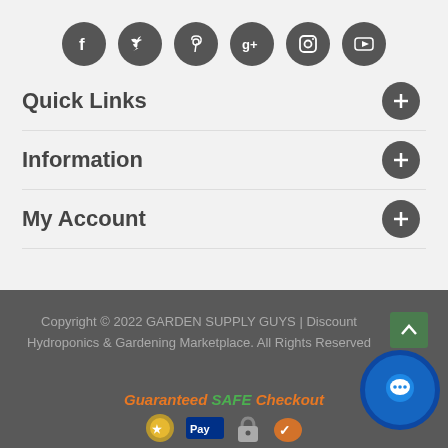[Figure (infographic): Row of 6 circular dark grey social media icons: Facebook, Twitter, Pinterest, Google+, Instagram, YouTube]
Quick Links
Information
My Account
Copyright © 2022 GARDEN SUPPLY GUYS | Discount Hydroponics & Gardening Marketplace. All Rights Reserved
Guaranteed SAFE Checkout